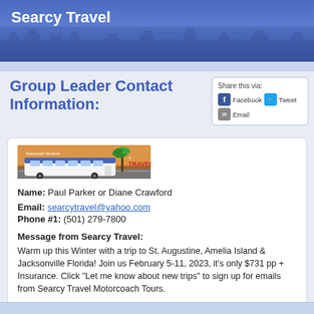Searcy Travel
Group Leader Contact Information:
Share this via: Facebook Tweet Email
[Figure (logo): Searcy Travel motorcoach vacations logo with bus and palm tree]
Name: Paul Parker or Diane Crawford
Email: searcytravel@yahoo.com
Phone #1: (501) 279-7800
Message from Searcy Travel: Warm up this Winter with a trip to St. Augustine, Amelia Island & Jacksonville Florida! Join us February 5-11, 2023, it's only $731 pp + Insurance. Click "Let me know about new trips" to sign up for emails from Searcy Travel Motorcoach Tours.